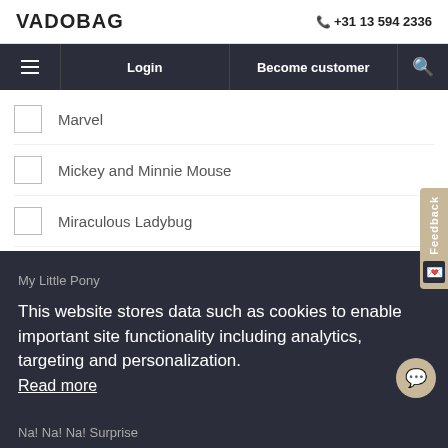VADOBAG  +31 13 594 2336
Login  Become customer
Marvel
Mickey and Minnie Mouse
Miraculous Ladybug
My Little Pony
This website stores data such as cookies to enable important site functionality including analytics, targeting and personalization.
Read more
Na! Na! Na! Surprise
PAW Patrol
Understood!
Peanuts
Peppa Pig